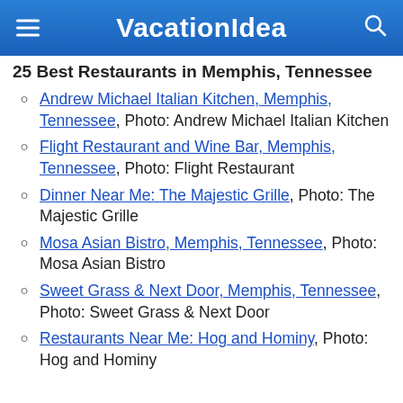VacationIdea
25 Best Restaurants in Memphis, Tennessee
Andrew Michael Italian Kitchen, Memphis, Tennessee, Photo: Andrew Michael Italian Kitchen
Flight Restaurant and Wine Bar, Memphis, Tennessee, Photo: Flight Restaurant
Dinner Near Me: The Majestic Grille, Photo: The Majestic Grille
Mosa Asian Bistro, Memphis, Tennessee, Photo: Mosa Asian Bistro
Sweet Grass & Next Door, Memphis, Tennessee, Photo: Sweet Grass & Next Door
Restaurants Near Me: Hog and Hominy, Photo: Hog and Hominy